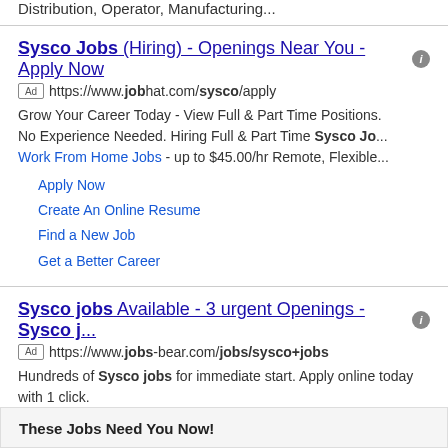Distribution, Operator, Manufacturing...
Sysco Jobs (Hiring) - Openings Near You - Apply Now
https://www.jobhat.com/sysco/apply
Grow Your Career Today - View Full & Part Time Positions. No Experience Needed. Hiring Full & Part Time Sysco Jo...
Work From Home Jobs - up to $45.00/hr Remote, Flexible...
Apply Now
Create An Online Resume
Find a New Job
Get a Better Career
Sysco jobs Available - 3 urgent Openings - Sysco j...
https://www.jobs-bear.com/jobs/sysco+jobs
Hundreds of Sysco jobs for immediate start. Apply online today with 1 click.
These Jobs Need You Now!